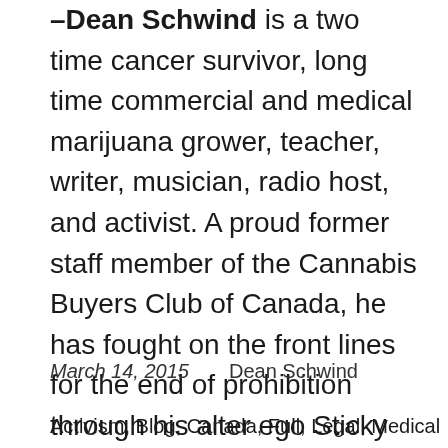–Dean Schwind is a two time cancer survivor, long time commercial and medical marijuana grower, teacher, writer, musician, radio host, and activist. A proud former staff member of the Cannabis Buyers Club of Canada, he has fought on the front lines for the end of prohibition through his alter ego Sticky Kola and the infamous BC band King Bong. Raising money, changing perceptions, and generally freaking the public in an effort to help sick people gain access to the benefits of medical marijuana.
March 14, 2015    Dean Schwind
Activism, Blog, Canada, Full, Legal, Medical